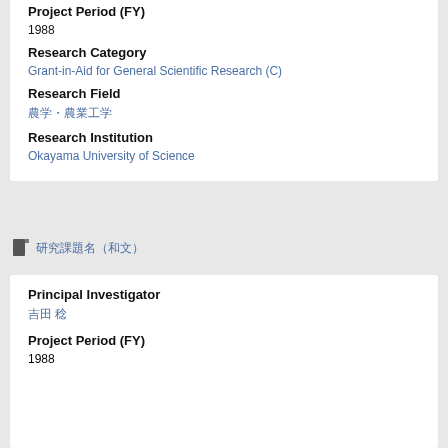Project Period (FY)
1988
Research Category
Grant-in-Aid for General Scientific Research (C)
Research Field
農学・農業工学
Research Institution
Okayama University of Science
研究課題名（和文）
Principal Investigator
吉田 稔
Project Period (FY)
1988